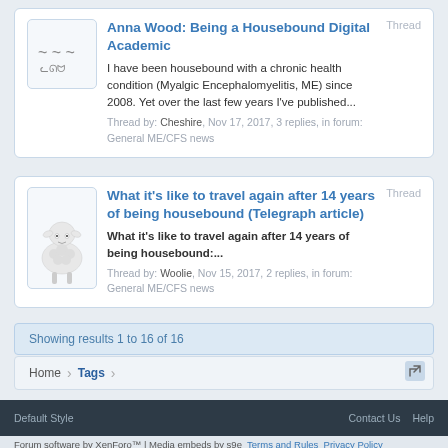Anna Wood: Being a Housebound Digital Academic
I have been housebound with a chronic health condition (Myalgic Encephalomyelitis, ME) since 2008. Yet over the last few years I've published...
Thread by: Cheshire, Nov 17, 2017, 3 replies, in forum: General ME/CFS news
What it's like to travel again after 14 years of being housebound (Telegraph article)
What it's like to travel again after 14 years of being housebound:...
Thread by: Woolie, Nov 15, 2017, 2 replies, in forum: General ME/CFS news
Showing results 1 to 16 of 16
Home Tags
Default Style  Contact Us  Help
Forum software by XenForo™ | Media embeds by s9e  Terms and Rules  Privacy Policy Some XenForo functionality crafted by ThemeHouse.